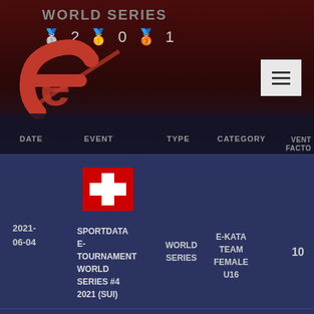WORLD SERIES 2021
| DATE | EVENT | TYPE | CATEGORY | FACTOR |
| --- | --- | --- | --- | --- |
| 2021-06-04 | SPORTDATA E-TOURNAMENT WORLD SERIES #4 2021 (SUI) | WORLD SERIES | E-KATA TEAM FEMALE U16 | 10 |
| 2021-04-23 | SPORTDATA E-TOURNAMENT WORLD SERIES #3 ... | WORLD SERIES | E-KATA TEAM FEMALE U16 | 10 |